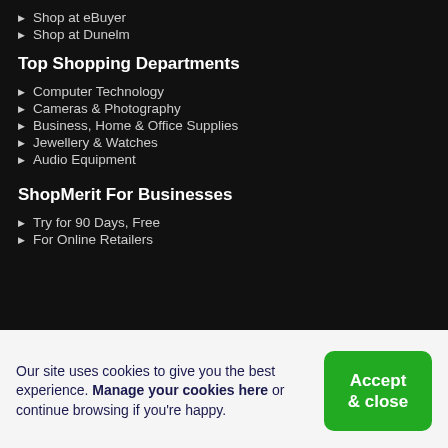Shop at eBuyer
Shop at Dunelm
Top Shopping Departments
Computer Technology
Cameras & Photography
Business, Home & Office Supplies
Jewellery & Watches
Audio Equipment
ShopMerit For Businesses
Try for 90 Days, Free
For Online Retailers
Our site uses cookies to give you the best experience. Manage your cookies here or continue browsing if you're happy.